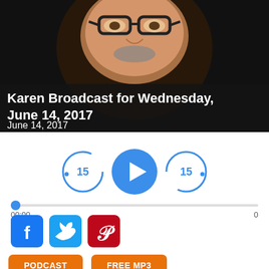[Figure (photo): Close-up photo of an elderly man wearing dark-rimmed glasses, against a dark background]
Karen Broadcast for Wednesday, June 14, 2017
June 14, 2017
[Figure (screenshot): Audio player controls: rewind 15s button, play button, forward 15s button, progress bar showing 00:00 and 0]
[Figure (infographic): Social media share buttons: Facebook, Twitter, Pinterest]
PODCAST
FREE MP3